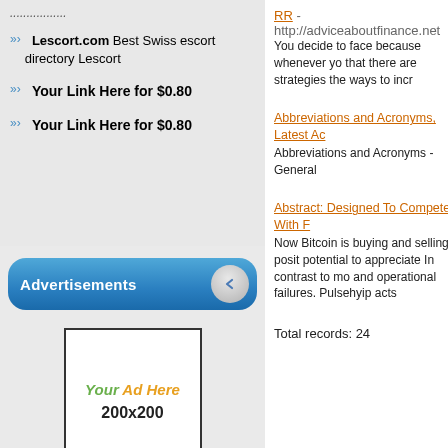...
» » Lescort.com Best Swiss escort directory Lescort
»» Your Link Here for $0.80
»» Your Link Here for $0.80
Advertisements
[Figure (other): Advertisement box placeholder: 'Your Ad Here 200x200']
RR - http://adviceaboutfinance.net
You decide to face because whenever you that there are strategies the ways to incr
Abbreviations and Acronyms, Latest Ac
Abbreviations and Acronyms - General
Abstract: Designed To Compete With F
Now Bitcoin is buying and selling posit potential to appreciate In contrast to mo and operational failures. Pulsehyip acts
Total records: 24